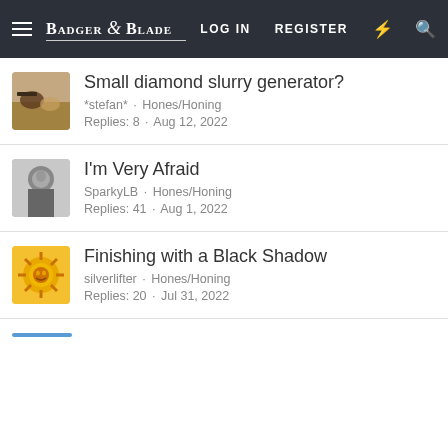Badger & Blade — LOG IN  REGISTER
Small diamond slurry generator?
*stefan* · Hones/Honing
Replies: 8 · Aug 12, 2022
I'm Very Afraid
SparkyLB · Hones/Honing
Replies: 41 · Aug 1, 2022
Finishing with a Black Shadow
silverlifter · Hones/Honing
Replies: 20 · Jul 31, 2022